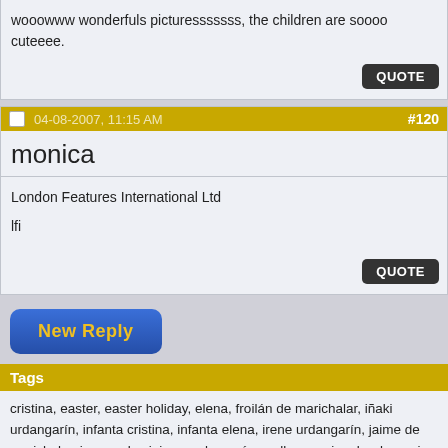wooowww wonderfuls picturesssssss, the children are soooo cuteeee.
QUOTE
04-08-2007, 11:15 AM  #120
monica
London Features International Ltd
lfi
QUOTE
New Reply
Tags
cristina, easter, easter holiday, elena, froilán de marichalar, iñaki urdangarín, infanta cristina, infanta elena, irene urdangarín, jaime de marichalar, juan carlos i, juan urdangarín, mallorca, miguel urdangarin, pablo urdangarín, queen sofia, sofia (1938 -), spanish royal family, spanish royals easter, victoria de marichalar